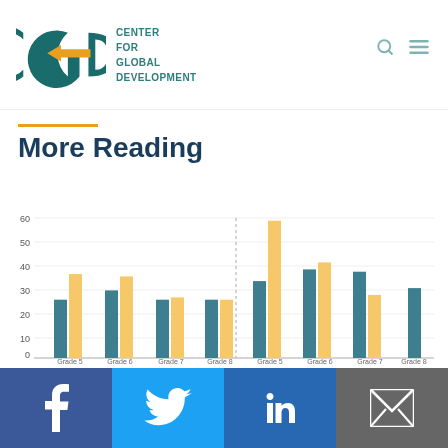Center for Global Development
More Reading
[Figure (grouped-bar-chart): More Reading]